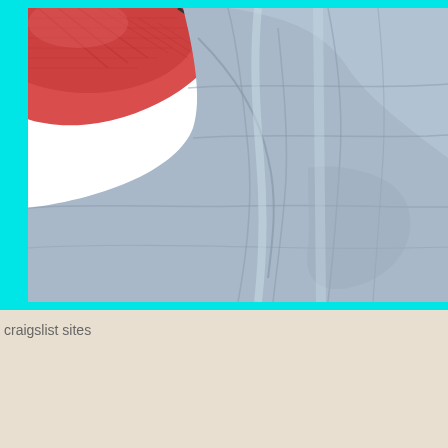[Figure (photo): Close-up photo of clothing items: a red/pink knitted or woven fabric sleeve/top and a light blue-gray wrinkled fabric (appears to be denim or similar), shown against a white background with a cyan/turquoise border frame]
craigslist sites